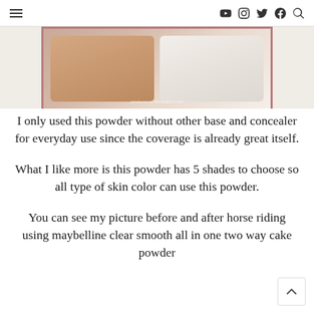≡  [YouTube] [Instagram] [Twitter] [Facebook] [Search]
[Figure (photo): Close-up photo of a two-way cake powder compact with a pink/rose border, showing two halves: one with a beige/tan powder and one with a white/light powder. Watermark reads 'pinkwoom.blogspot.com'.]
I only used this powder without other base and concealer for everyday use since the coverage is already great itself.
What I like more is this powder has 5 shades to choose so all type of skin color can use this powder.
You can see my picture before and after horse riding using maybelline clear smooth all in one two way cake powder